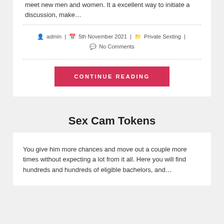meet new men and women. It a excellent way to initiate a discussion, make…
admin | 5th November 2021 | Private Sexting | No Comments
CONTINUE READING
Sex Cam Tokens
You give him more chances and move out a couple more times without expecting a lot from it all. Here you will find hundreds and hundreds of eligible bachelors, and…